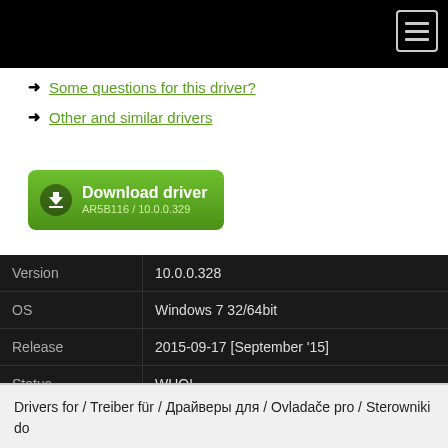Some questions for this driver?
Other and similar drivers
[Figure (other): Green download button with icon: Download driver AR5B116 / 10.0.0.329]
|  |  |
| --- | --- |
| Version | 10.0.0.328 |
| OS | Windows 7 32/64bit |
| Release | 2015-09-17 [September '15] |
| Status | WHQL |
| File | win7-10.0.0.328-whql.zip |
| Downloaded | 1034413× |
Drivers for / Treiber für / Драйверы для / Ovladače pro / Sterowniki do